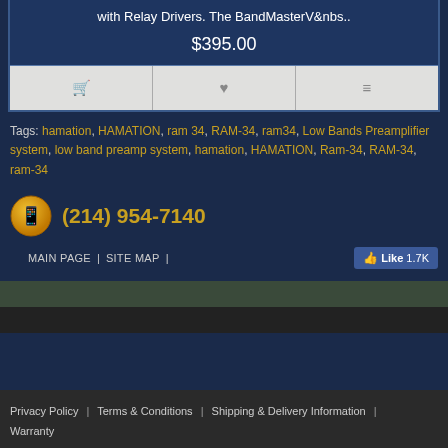BandMaster V Universal Multi-Band 2 Outlet System with Relay Drivers. The BandMasterV&nbs..
$395.00
Tags: hamation, HAMATION, ram 34, RAM-34, ram34, Low Bands Preamplifier system, low band preamp system, hamation, HAMATION, Ram-34, RAM-34, ram-34
(214) 954-7140
MAIN PAGE | SITE MAP | Like 1.7K
Privacy Policy | Terms & Conditions | Shipping & Delivery Information | Warranty